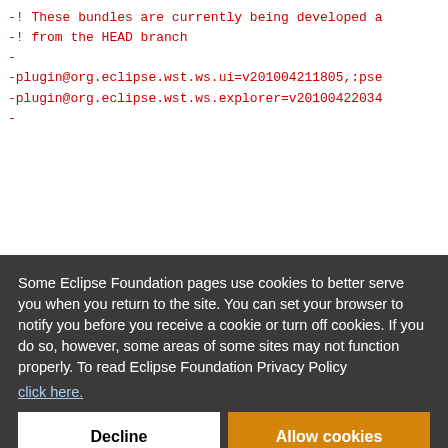-! These bundles are currently being developed a
-! from the HEAD branch
-
-plugin@org.eclipse.wst.ws.ui=v201004211805,:pse
-plugin@org.eclipse.wst.ws.explorer=v2010042203...
-
00445,:ps
1506,:pse
y.ui=v201
20100421...
Some Eclipse Foundation pages use cookies to better serve you when you return to the site. You can set your browser to notify you before you receive a cookie or turn off cookies. If you do so, however, some areas of some sites may not function properly. To read Eclipse Foundation Privacy Policy click here.
Decline
Allow cookies